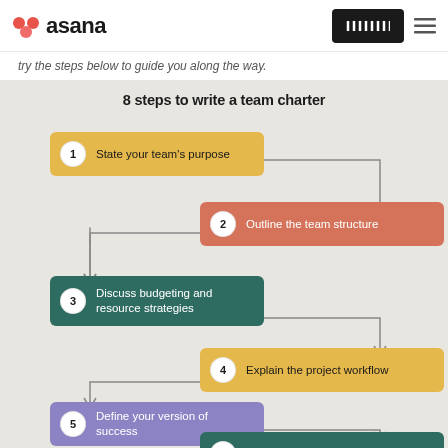asana
try the steps below to guide you along the way.
[Figure (flowchart): 8 steps to write a team charter: Step 1 - State your team's purpose (gold box, left side), Step 2 - Outline the team structure (salmon/terracotta box, right side), Step 3 - Discuss budgeting and resource strategies (teal box, left side), Step 4 - Explain the project workflow (gold box, right side), Step 5 - Define your version of success (purple box, left side), Step 6 - Establish standard forms (teal box, right side, partially visible). Zigzag flow arrows connect each step.]